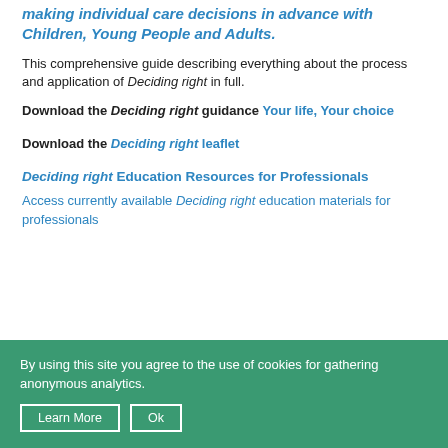making individual care decisions in advance with Children, Young People and Adults.
This comprehensive guide describing everything about the process and application of Deciding right in full.
Download the Deciding right guidance Your life, Your choice
Download the Deciding right leaflet
Deciding right Education Resources for Professionals
Access currently available Deciding right education materials for professionals
Accessibility Tools
By using this site you agree to the use of cookies for gathering anonymous analytics. Learn More Ok